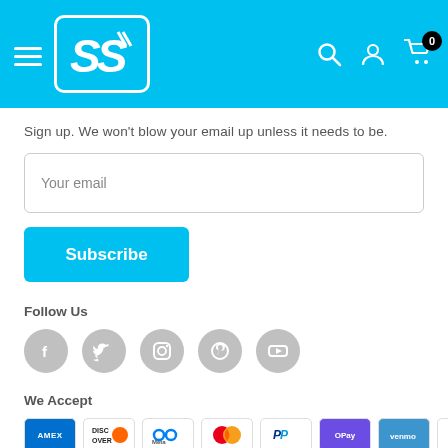[Figure (screenshot): Website navigation header with cyan/blue background, hamburger menu icon, 'SS' logo in white rounded rectangle, search icon, user icon, and shopping cart icon with badge showing 0]
Sign up. We won't blow your email up unless it needs to be.
[Figure (screenshot): Email input field with placeholder text 'Your email']
[Figure (screenshot): Cyan Subscribe button]
Follow Us
[Figure (screenshot): Five gray circular social media icons: Facebook, Twitter, Instagram, Pinterest, YouTube]
We Accept
[Figure (screenshot): Payment method icons: Amex, Discover, Meta, Mastercard, PayPal, OPay, Venmo, Visa]